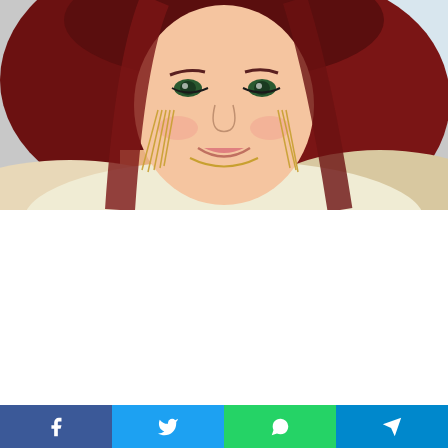[Figure (photo): A smiling woman with long red hair, wearing gold chandelier earrings, a gold necklace, and a cream/gold sequined top. She is photographed at an event with a white banner visible in the background with partial blue text 'fro'.]
Share buttons: Facebook, Twitter, WhatsApp, Telegram